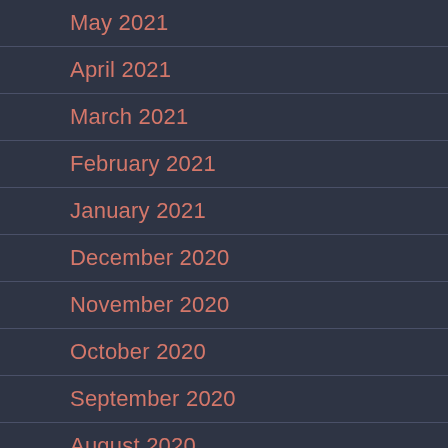May 2021
April 2021
March 2021
February 2021
January 2021
December 2020
November 2020
October 2020
September 2020
August 2020
July 2020